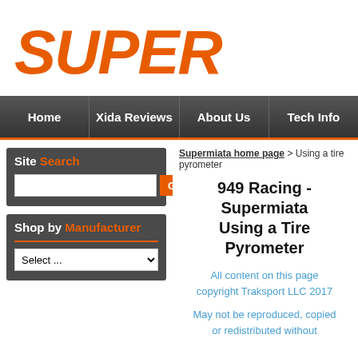[Figure (logo): Supermiata / 949 Racing logo in orange italic bold text reading SUPER (partially cropped)]
Home | Xida Reviews | About Us | Tech Info
Supermiata home page > Using a tire pyrometer
949 Racing - Supermiata Using a Tire Pyrometer
All content on this page copyright Traksport LLC 2017
May not be reproduced, copied or redistributed without
Site Search
Shop by Manufacturer